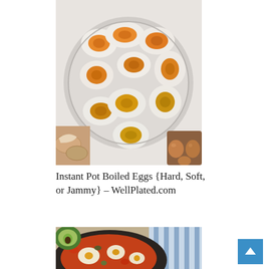[Figure (photo): Overhead view of halved boiled eggs arranged on a white plate showing varying yolk doneness (soft, jammy, hard), with egg shells and whole brown eggs visible around the plate on a white surface.]
Instant Pot Boiled Eggs {Hard, Soft, or Jammy} – WellPlated.com
[Figure (photo): Partial view of a skillet dish with eggs, vegetables including avocado and tomatoes, with a blue and white striped cloth in the background.]